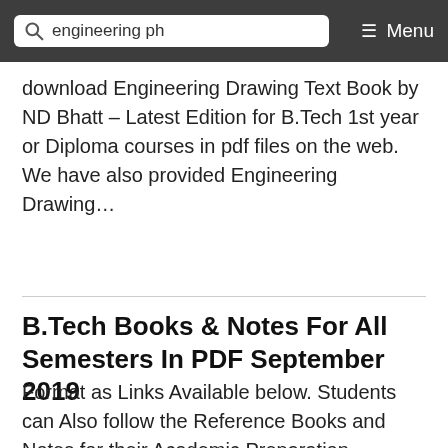engineering ph   Menu
download Engineering Drawing Text Book by ND Bhatt – Latest Edition for B.Tech 1st year or Diploma courses in pdf files on the web. We have also provided Engineering Drawing…
B.Tech Books & Notes For All Semesters In PDF September 2019
Format as Links Available below. Students can Also follow the Reference Books and Notes for their Academic Preparation. Download B.Tech Study Material & Notes for 1st Year, 2nd Year, 3rd, 4th Year